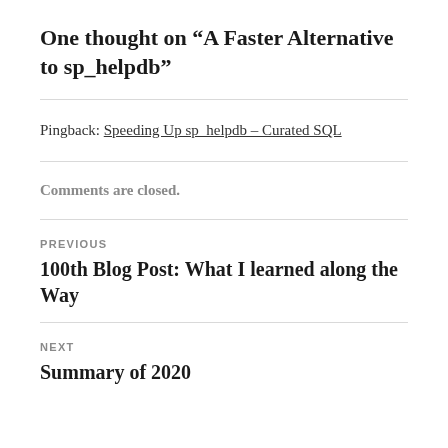One thought on “A Faster Alternative to sp_helpdb”
Pingback: Speeding Up sp_helpdb – Curated SQL
Comments are closed.
PREVIOUS
100th Blog Post: What I learned along the Way
NEXT
Summary of 2020